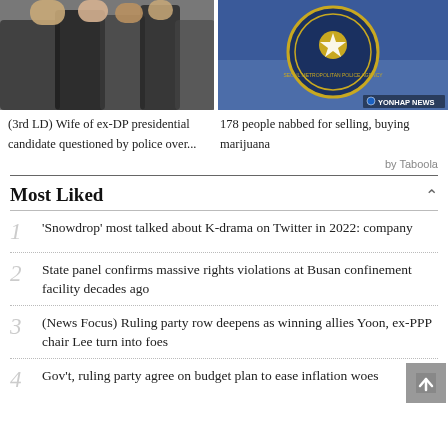[Figure (photo): People walking, news article about wife of ex-DP presidential candidate]
[Figure (photo): Seoul Metropolitan Police Agency badge/logo, Yonhap News watermark]
(3rd LD) Wife of ex-DP presidential candidate questioned by police over...
178 people nabbed for selling, buying marijuana
by Taboola
Most Liked
1 'Snowdrop' most talked about K-drama on Twitter in 2022: company
2 State panel confirms massive rights violations at Busan confinement facility decades ago
3 (News Focus) Ruling party row deepens as winning allies Yoon, ex-PPP chair Lee turn into foes
4 Gov't, ruling party agree on budget plan to ease inflation woes